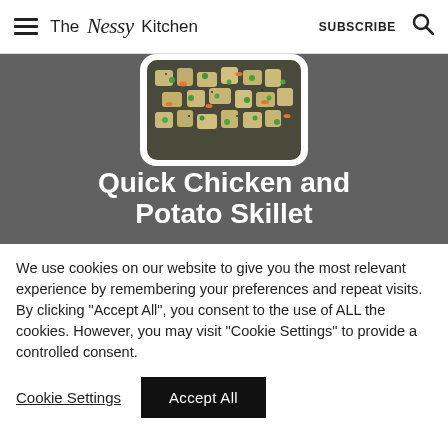The Nessy Kitchen  SUBSCRIBE  🔍
[Figure (photo): Food photo showing chicken and potato skillet dish with peas and carrots in a white bowl, overlaid on a dark gray background banner with bold white text reading 'Quick Chicken and Potato Skillet']
We use cookies on our website to give you the most relevant experience by remembering your preferences and repeat visits. By clicking "Accept All", you consent to the use of ALL the cookies. However, you may visit "Cookie Settings" to provide a controlled consent.
Cookie Settings   Accept All